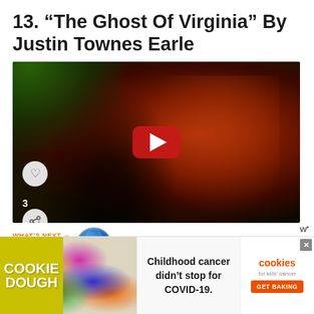13. “The Ghost Of Virginia” By Justin Townes Earle
[Figure (photo): Concert photo of a man in profile under red stage lighting, with green light in background. A YouTube-style play button overlay is visible in the center. A heart icon and share icon are visible on the left side.]
WHAT'S NEXT → 10 Of The Best Songs Abou...
[Figure (photo): Advertisement for Cookie Dough for Kids Cancer charity. Left section shows colorful illustrated children. Center-left shows 'COOKIE DOUGH' text in yellow background. Center shows text 'Childhood cancer didn’t stop for COVID-19.' Right section shows 'cookies for kids cancer' logo and 'GET BAKING' button.]